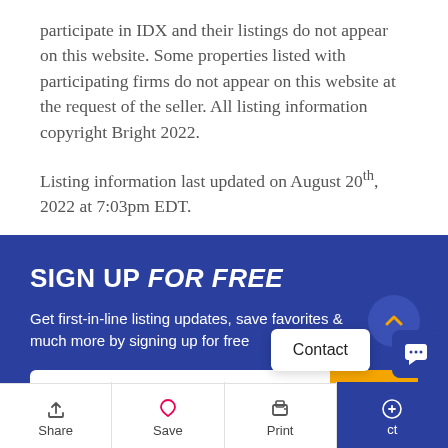participate in IDX and their listings do not appear on this website. Some properties listed with participating firms do not appear on this website at the request of the seller. All listing information copyright Bright 2022.
Listing information last updated on August 20th, 2022 at 7:03pm EDT.
SIGN UP FOR FREE
Get first-in-line listing updates, save favorites & much more by signing up for free
Share  Save  Print  Contact